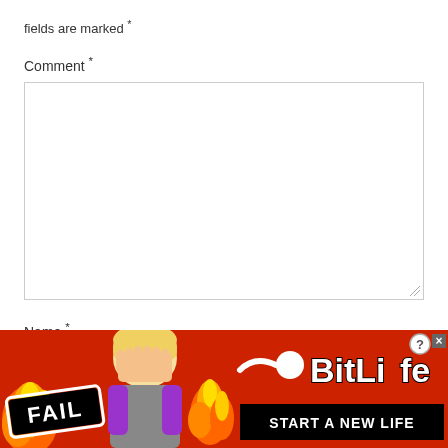fields are marked *
Comment *
[Figure (screenshot): Empty comment textarea input box with resize handle at bottom right]
Name *
[Figure (screenshot): Empty name text input box]
[Figure (illustration): BitLife mobile game advertisement banner with FAIL badge, animated character, fire, sperm logo, and START A NEW LIFE tagline on red background]